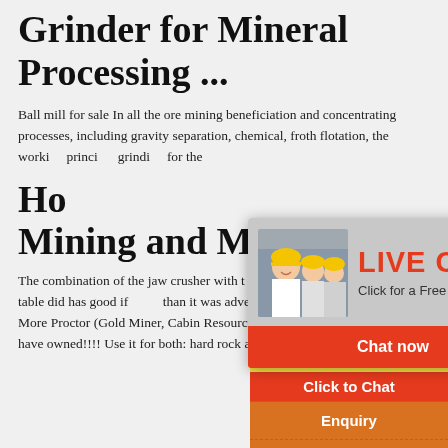Grinder for Mineral Processing ...
Ball mill for sale In all the ore mining beneficiation and concentrating processes, including gravity separation, chemical, froth flotation, the working principle of ball mill machine is the same – grinding for the
Ho Mining and Meta
The combination of the jaw crusher with the hammer mill and shaker table did has good if than it was advertised by MBMM. I Read More Proctor (Gold Miner, Cabin Resources) By far, the best table I have owned!!!! Use it for both: hard rock and
[Figure (photo): Live chat overlay with photo of smiling woman in hard hat with colleagues in background, red LIVE CHAT text, 'Click for a Free Consultation' subtitle, Chat now (red) and Chat later (dark) buttons]
[Figure (infographic): Orange ad panel on right side showing mining machinery images, 'Enjoy 3% discount' yellow bar, red 'Click to Chat' bar, 'Enquiry' section, and email limingjlmofen@sina.com]